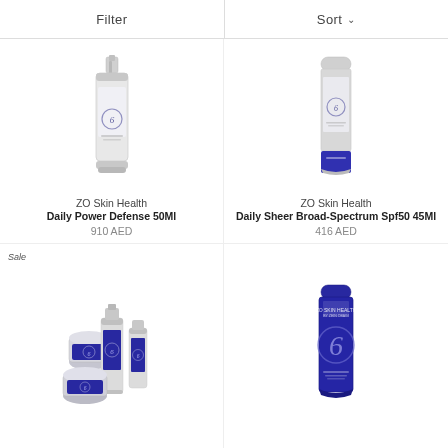Filter | Sort
[Figure (photo): ZO Skin Health Daily Power Defense 50Ml product bottle - silver/white pump bottle with blue label]
ZO Skin Health
Daily Power Defense 50Ml
910 AED
[Figure (photo): ZO Skin Health Daily Sheer Broad-Spectrum Spf50 45Ml product tube - silver tube with blue cap]
ZO Skin Health
Daily Sheer Broad-Spectrum Spf50 45Ml
416 AED
[Figure (photo): ZO Skin Health skincare set - multiple blue and white bottles and jars]
[Figure (photo): ZO Skin Health tube product - blue tube]